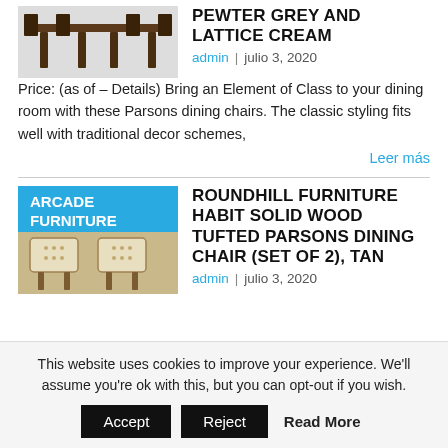[Figure (photo): Dining table and chairs product image, dark wood, top view]
PEWTER GREY AND LATTICE CREAM
admin  |  julio 3, 2020
Price: (as of – Details) Bring an Element of Class to your dining room with these Parsons dining chairs. The classic styling fits well with traditional decor schemes,
Leer más
[Figure (photo): Arcade Furniture branded image showing tufted parsons dining chairs in tan, with blue header label reading ARCADE FURNITURE]
ROUNDHILL FURNITURE HABIT SOLID WOOD TUFTED PARSONS DINING CHAIR (SET OF 2), TAN
admin  |  julio 3, 2020
This website uses cookies to improve your experience. We'll assume you're ok with this, but you can opt-out if you wish.